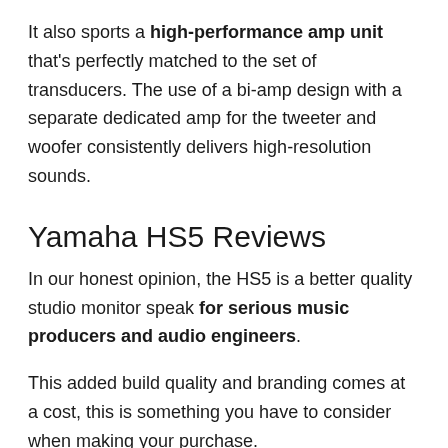It also sports a high-performance amp unit that's perfectly matched to the set of transducers. The use of a bi-amp design with a separate dedicated amp for the tweeter and woofer consistently delivers high-resolution sounds.
Yamaha HS5 Reviews
In our honest opinion, the HS5 is a better quality studio monitor speak for serious music producers and audio engineers.
This added build quality and branding comes at a cost, this is something you have to consider when making your purchase.
Don't forget that there are many more pieces of equipment you will need to buy for your studio, so shop smart.